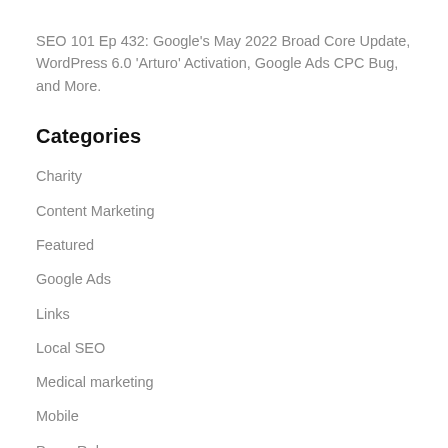SEO 101 Ep 432: Google's May 2022 Broad Core Update, WordPress 6.0 'Arturo' Activation, Google Ads CPC Bug, and More.
Categories
Charity
Content Marketing
Featured
Google Ads
Links
Local SEO
Medical marketing
Mobile
Press Releases
Search